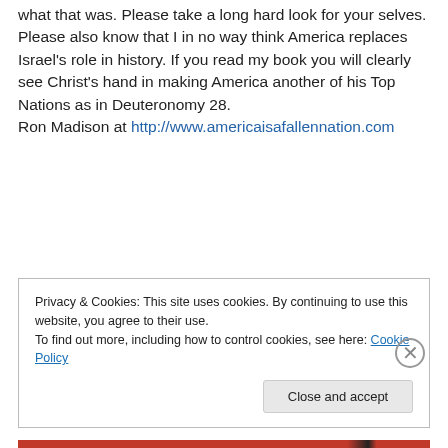what that was. Please take a long hard look for your selves. Please also know that I in no way think America replaces Israel's role in history. If you read my book you will clearly see Christ's hand in making America another of his Top Nations as in Deuteronomy 28.
Ron Madison at http://www.americaisafallennation.com
Privacy & Cookies: This site uses cookies. By continuing to use this website, you agree to their use.
To find out more, including how to control cookies, see here: Cookie Policy
Close and accept